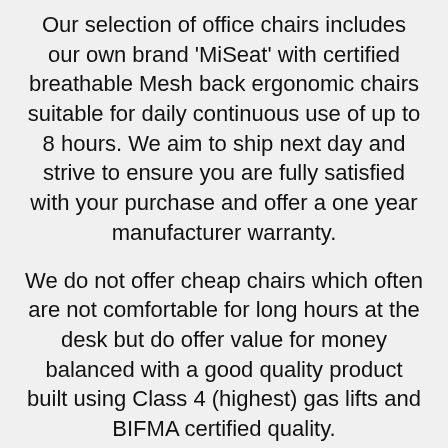Our selection of office chairs includes our own brand 'MiSeat' with certified breathable Mesh back ergonomic chairs suitable for daily continuous use of up to 8 hours. We aim to ship next day and strive to ensure you are fully satisfied with your purchase and offer a one year manufacturer warranty.
We do not offer cheap chairs which often are not comfortable for long hours at the desk but do offer value for money balanced with a good quality product built using Class 4 (highest) gas lifts and BIFMA certified quality.